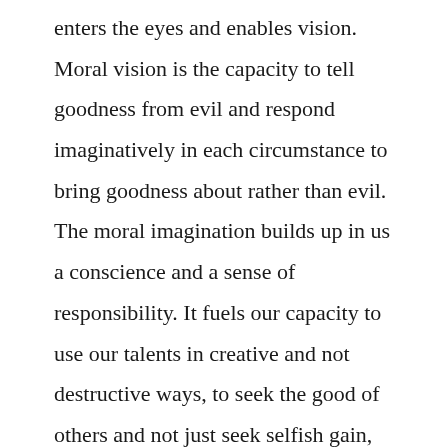enters the eyes and enables vision. Moral vision is the capacity to tell goodness from evil and respond imaginatively in each circumstance to bring goodness about rather than evil. The moral imagination builds up in us a conscience and a sense of responsibility. It fuels our capacity to use our talents in creative and not destructive ways, to seek the good of others and not just seek selfish gain, and to act with honesty and decency